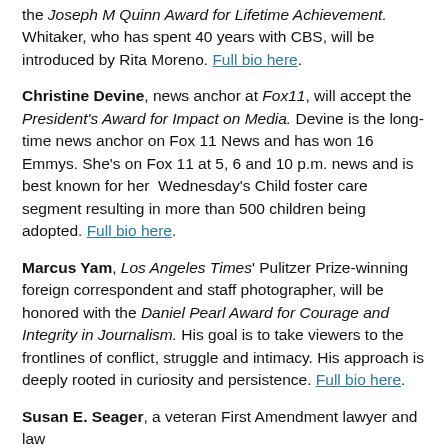the Joseph M Quinn Award for Lifetime Achievement. Whitaker, who has spent 40 years with CBS, will be introduced by Rita Moreno. Full bio here.
Christine Devine, news anchor at Fox11, will accept the President's Award for Impact on Media. Devine is the long-time news anchor on Fox 11 News and has won 16 Emmys. She's on Fox 11 at 5, 6 and 10 p.m. news and is best known for her Wednesday's Child foster care segment resulting in more than 500 children being adopted. Full bio here.
Marcus Yam, Los Angeles Times' Pulitzer Prize-winning foreign correspondent and staff photographer, will be honored with the Daniel Pearl Award for Courage and Integrity in Journalism. His goal is to take viewers to the frontlines of conflict, struggle and intimacy. His approach is deeply rooted in curiosity and persistence. Full bio here.
Susan E. Seager, a veteran First Amendment lawyer and law